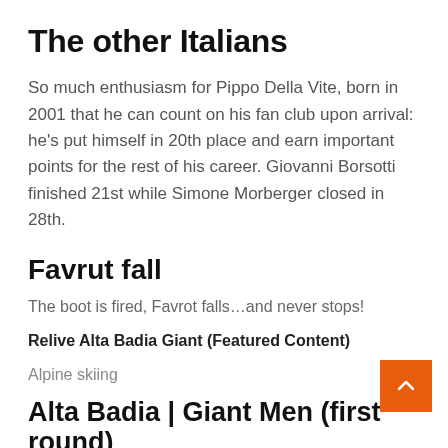The other Italians
So much enthusiasm for Pippo Della Vite, born in 2001 that he can count on his fan club upon arrival: he's put himself in 20th place and earn important points for the rest of his career. Giovanni Borsotti finished 21st while Simone Morberger closed in 28th.
Favrut fall
The boot is fired, Favrot falls…and never stops!
Relive Alta Badia Giant (Featured Content)
Alpine skiing
Alta Badia | Giant Men (first round)
21:49:45